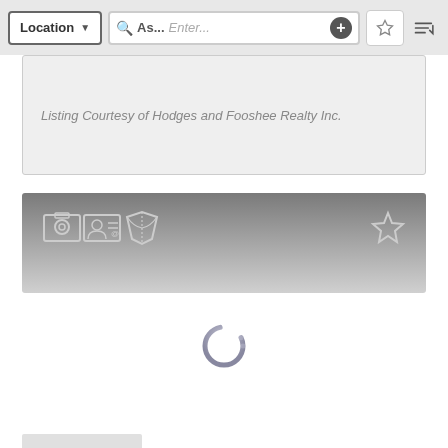[Figure (screenshot): Mobile app toolbar with Location dropdown button, search bar showing 'As...' and 'Enter...' placeholder with a plus button, a star/favorites button, and a sort button]
Listing Courtesy of Hodges and Fooshee Realty Inc.
[Figure (screenshot): Dark gradient icon bar with photo icon, contact card icon, map/directions icon on left side, and star/favorites icon on right side]
[Figure (screenshot): Loading spinner (circular progress indicator) in center of white content area]